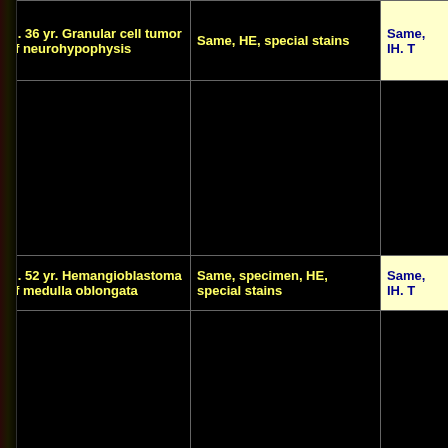| Case | Stain type 1 | Stain type 2 |
| --- | --- | --- |
| M. 36 yr.  Granular cell tumor of neurohypophysis | Same, HE, special stains | Same, IH. T[runcated] |
| [image] | [image] | [image] |
| M. 52 yr.  Hemangioblastoma of medulla oblongata | Same, specimen, HE, special stains | Same, IH. T[runcated] |
| [image] | [image] | [image] |
| F. 32 yr.  Chordoma of clivus | Same, HE, special stains | Same, IH |